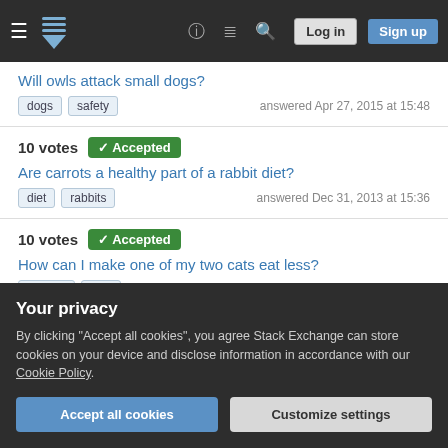Stack Exchange navigation bar with Log in and Sign up buttons
Will owls attack small dogs?
dogs  safety  answered Apr 27, 2015 at 15:48
10 votes  Accepted  Are carrots a healthy part of a rabbit diet?
diet  rabbits  answered Dec 31, 2013 at 15:36
10 votes  Accepted  How can I make one of my two cats eat less?
feeding  cats  answered Oct 9, 2012 at 19:00
Your privacy
By clicking "Accept all cookies", you agree Stack Exchange can store cookies on your device and disclose information in accordance with our Cookie Policy.
Accept all cookies  Customize settings